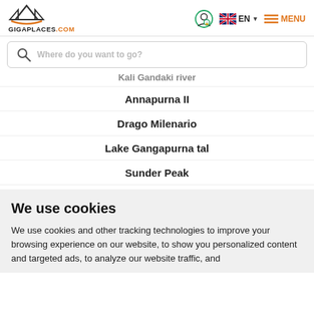[Figure (logo): GigaPlaces.com logo with mountain peaks icon]
[Figure (screenshot): Search bar with magnifying glass icon and placeholder text 'Where do you want to go?']
Kali Gandaki river
Annapurna II
Drago Milenario
Lake Gangapurna tal
Sunder Peak
We use cookies
We use cookies and other tracking technologies to improve your browsing experience on our website, to show you personalized content and targeted ads, to analyze our website traffic, and